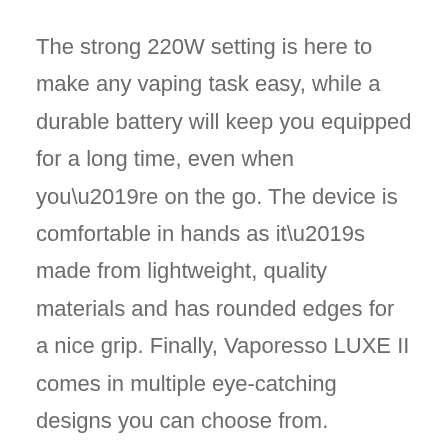The strong 220W setting is here to make any vaping task easy, while a durable battery will keep you equipped for a long time, even when you’re on the go. The device is comfortable in hands as it’s made from lightweight, quality materials and has rounded edges for a nice grip. Finally, Vaporesso LUXE II comes in multiple eye-catching designs you can choose from.
3. Lost Vape Centaurus DNA 250C – 200W
Another brand that has a significant influence in the entire vaping industry is Lost Vape. It